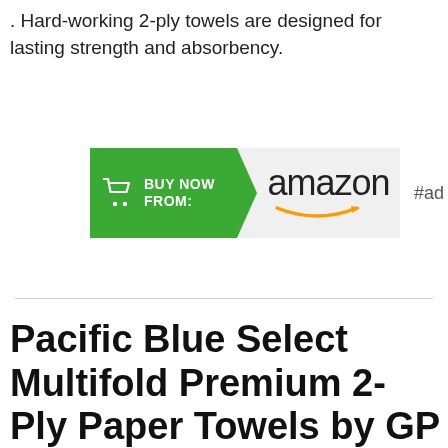. Hard-working 2-ply towels are designed for lasting strength and absorbency.
[Figure (screenshot): Amazon 'Buy Now From' green arrow button with Amazon logo and #ad label]
Pacific Blue Select Multifold Premium 2-Ply Paper Towels by GP PRO Georgia-Pacific, White, 21000, 125 Paper Towels Per Pack, 16